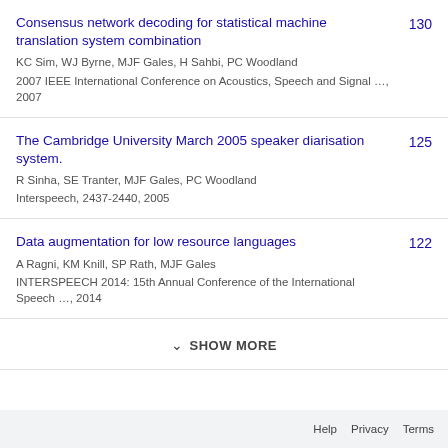Consensus network decoding for statistical machine translation system combination
KC Sim, WJ Byrne, MJF Gales, H Sahbi, PC Woodland
2007 IEEE International Conference on Acoustics, Speech and Signal …, 2007
130
The Cambridge University March 2005 speaker diarisation system.
R Sinha, SE Tranter, MJF Gales, PC Woodland
Interspeech, 2437-2440, 2005
125
Data augmentation for low resource languages
A Ragni, KM Knill, SP Rath, MJF Gales
INTERSPEECH 2014: 15th Annual Conference of the International Speech …, 2014
122
SHOW MORE
Help  Privacy  Terms